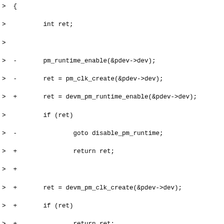Code diff showing changes to a Linux kernel driver probe function, converting from manual PM runtime/clock management to devm_ (device-managed) variants and removing cleanup labels.